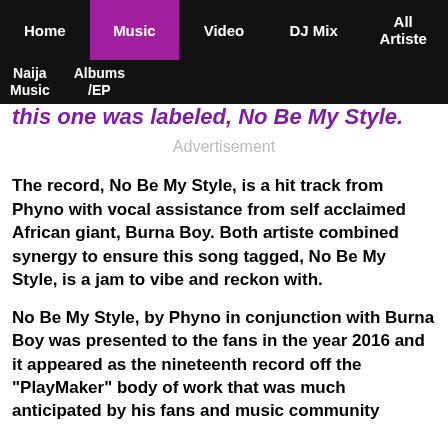Home | Music | Video | DJ Mix | All Artiste | Naija Music | Albums/EP
this one was labeled, No Be My Style.
Advertisement
The record, No Be My Style, is a hit track from Phyno with vocal assistance from self acclaimed African giant, Burna Boy. Both artiste combined synergy to ensure this song tagged, No Be My Style, is a jam to vibe and reckon with.
No Be My Style, by Phyno in conjunction with Burna Boy was presented to the fans in the year 2016 and it appeared as the nineteenth record off the "PlayMaker" body of work that was much anticipated by his fans and music community